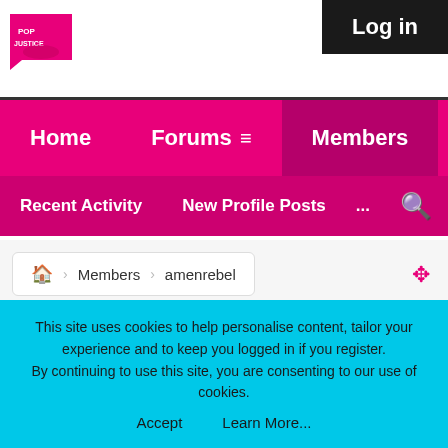[Figure (logo): Pop Justice logo - pink speech bubble with stylized text]
Log in
Home   Forums ≡   Members
Recent Activity   New Profile Posts   ...
🏠  Members  amenrebel
Recent Content by amenrebel
This site uses cookies to help personalise content, tailor your experience and to keep you logged in if you register.
By continuing to use this site, you are consenting to our use of cookies.
Accept    Learn More...